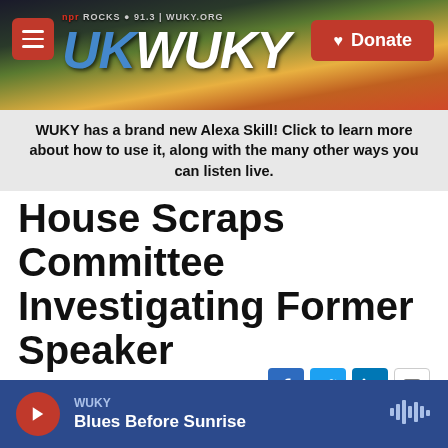[Figure (screenshot): WUKY NPR radio station website header banner with logo and Donate button]
WUKY has a brand new Alexa Skill! Click to learn more about how to use it, along with the many other ways you can listen live.
House Scraps Committee Investigating Former Speaker
WUKY | By Josh James
Published January 10, 2018 at 5:00 PM EST
[Figure (screenshot): Audio player bar showing WUKY Blues Before Sunrise with play button and audio waveform icon]